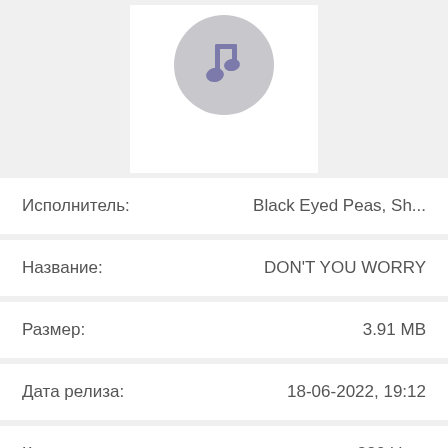[Figure (illustration): Music note icon in a purple/slate color inside a gray circle, displayed on a white album art background]
| Исполнитель: | Black Eyed Peas, Sh... |
| Название: | DON'T YOU WORRY |
| Размер: | 3.91 MB |
| Дата релиза: | 18-06-2022, 19:12 |
| Качество: | 320 kbps |